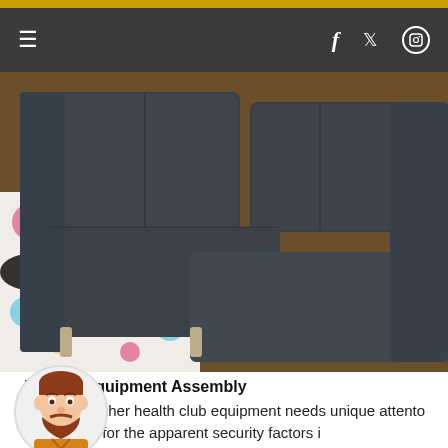Navigation bar with hamburger menu, facebook, twitter, instagram icons
[Figure (photo): Dark grey sectional sofa/couch arranged in an L-shape on a wooden floor with a colorful polka dot rug visible on the left side]
Fitness Equipment Assembly
Putting together health club equipment needs unique attention to information for the apparent security factors in
[Figure (illustration): Circular avatar illustration of a man with a beard wearing an orange shirt, partially overlapping the text]
When you have purchased new health club equipment that is flat packed and needs assembling or you are moving